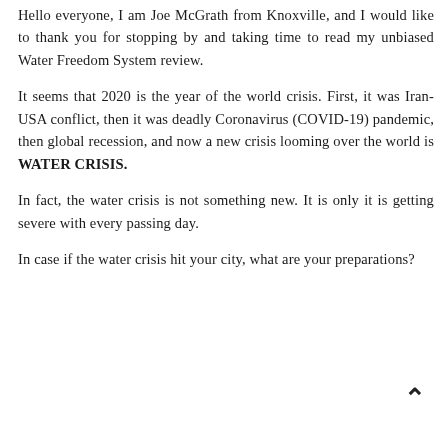Hello everyone, I am Joe McGrath from Knoxville, and I would like to thank you for stopping by and taking time to read my unbiased Water Freedom System review.
It seems that 2020 is the year of the world crisis. First, it was Iran-USA conflict, then it was deadly Coronavirus (COVID-19) pandemic, then global recession, and now a new crisis looming over the world is WATER CRISIS.
In fact, the water crisis is not something new. It is only it is getting severe with every passing day.
In case if the water crisis hit your city, what are your preparations?